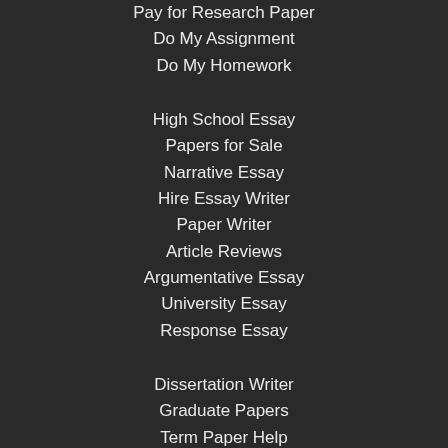Pay for Research Paper
Do My Assignment
Do My Homework
High School Essay
Papers for Sale
Narrative Essay
Hire Essay Writer
Paper Writer
Article Reviews
Argumentative Essay
University Essay
Response Essay
Dissertation Writer
Graduate Papers
Term Paper Help